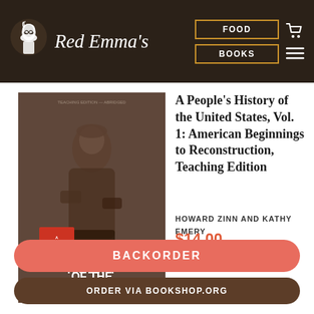Red Emma's | FOOD | BOOKS
[Figure (photo): Book cover of 'A People's History of the United States, Volume I: American Beginnings to Reconstruction, Abridged Teaching Edition' by Howard Zinn. Shows a sepia-toned photograph of a worker/blacksmith, with bold white text overlay and a red banner.]
A People's History of the United States, Vol. 1: American Beginnings to Reconstruction, Teaching Edition
HOWARD ZINN AND KATHY EMERY
$14.00
BACKORDER
ORDER VIA BOOKSHOP.ORG